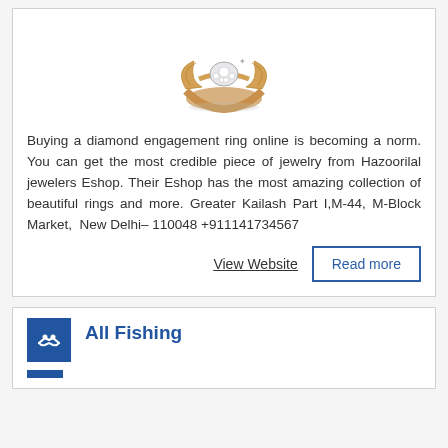[Figure (photo): A gold diamond engagement ring with leaf design and diamond cluster center]
Buying a diamond engagement ring online is becoming a norm. You can get the most credible piece of jewelry from Hazoorilal jewelers Eshop. Their Eshop has the most amazing collection of beautiful rings and more. Greater Kailash Part I,M-44, M-Block Market,  New Delhi– 110048 +911141734567
View Website
Read more
[Figure (logo): Blue square icon with white handshake symbol]
All Fishing